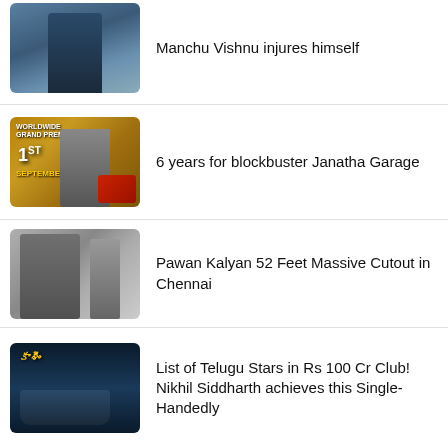[Figure (photo): Thumbnail image of Manchu Vishnu]
Manchu Vishnu injures himself
[Figure (photo): Thumbnail movie poster for Janatha Garage with September 1 release date]
6 years for blockbuster Janatha Garage
[Figure (photo): Thumbnail of Pawan Kalyan and a large cutout]
Pawan Kalyan 52 Feet Massive Cutout in Chennai
[Figure (photo): Thumbnail movie poster for a Telugu film with boat scene]
List of Telugu Stars in Rs 100 Cr Club! Nikhil Siddharth achieves this Single-Handedly